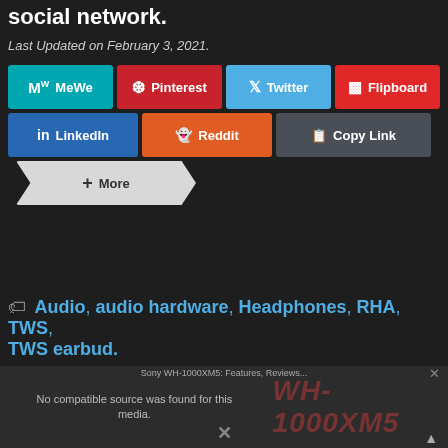social network.
Last Updated on February 3, 2021.
[Figure (screenshot): Social sharing buttons: MeWe, Pinterest, Twitter, Flipboard, LinkedIn, Reddit, Copy Link, More]
Audio, audio hardware, Headphones, RHA, TWS, TWS earbud.
[Figure (screenshot): Video overlay with Sony WH-1000XM5 watermark text and no compatible source message]